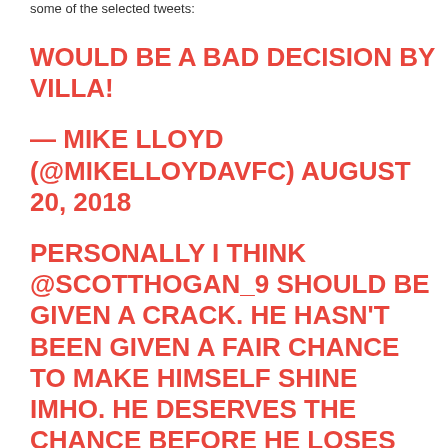some of the selected tweets:
WOULD BE A BAD DECISION BY VILLA!
— MIKE LLOYD (@MIKELLOYDAVFC) AUGUST 20, 2018
PERSONALLY I THINK @SCOTTHOGAN_9 SHOULD BE GIVEN A CRACK. HE HASN'T BEEN GIVEN A FAIR CHANCE TO MAKE HIMSELF SHINE IMHO. HE DESERVES THE CHANCE BEFORE HE LOSES HIS MOJO.#UTV #AVFC